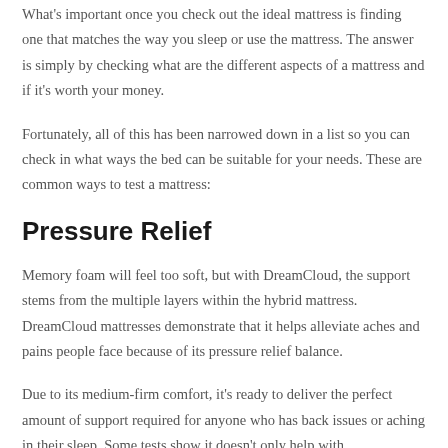What's important once you check out the ideal mattress is finding one that matches the way you sleep or use the mattress. The answer is simply by checking what are the different aspects of a mattress and if it's worth your money.
Fortunately, all of this has been narrowed down in a list so you can check in what ways the bed can be suitable for your needs. These are common ways to test a mattress:
Pressure Relief
Memory foam will feel too soft, but with DreamCloud, the support stems from the multiple layers within the hybrid mattress. DreamCloud mattresses demonstrate that it helps alleviate aches and pains people face because of its pressure relief balance.
Due to its medium-firm comfort, it's ready to deliver the perfect amount of support required for anyone who has back issues or aching in their sleep. Some tests show it doesn't only help with